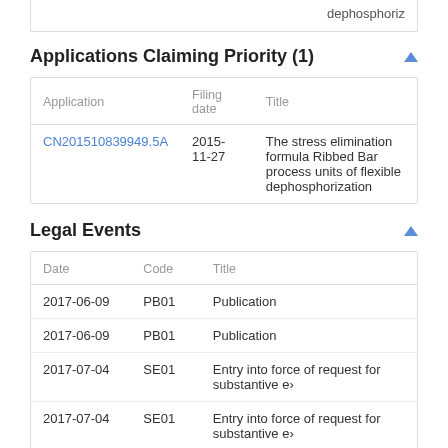dephosphoriz
Applications Claiming Priority (1)
| Application | Filing date | Title |
| --- | --- | --- |
| CN201510839949.5A | 2015-11-27 | The stress elimination formula Ribbed Bar process units of flexible dephosphorization |
Legal Events
| Date | Code | Title |
| --- | --- | --- |
| 2017-06-09 | PB01 | Publication |
| 2017-06-09 | PB01 | Publication |
| 2017-07-04 | SE01 | Entry into force of request for substantive ex |
| 2017-07-04 | SE01 | Entry into force of request for substantive ex |